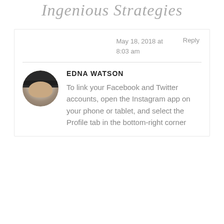Ingenious Strategies
May 18, 2018 at 8:03 am
Reply
EDNA WATSON
To link your Facebook and Twitter accounts, open the Instagram app on your phone or tablet, and select the Profile tab in the bottom-right corner